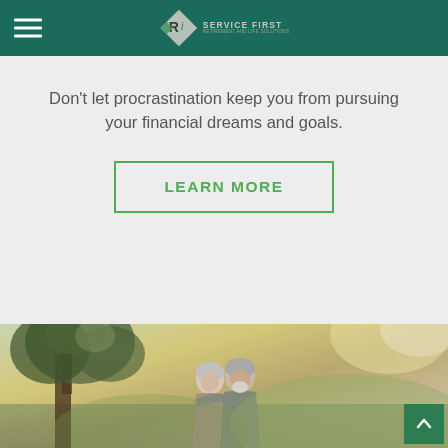Ri Service First — Navigation header with logo
Don't let procrastination keep you from pursuing your financial dreams and goals.
LEARN MORE
[Figure (photo): Outdoor photo of an elderly couple smiling, with a large tree in the background and green landscape.]